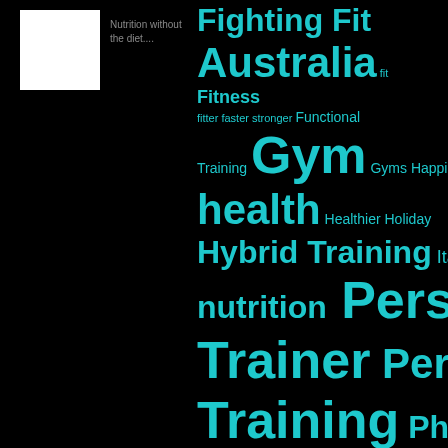[Figure (logo): White square logo box]
Nutrition without the diet....
[Figure (infographic): Tag cloud with fitness and health related keywords in varying sizes on black background, including: Fighting Fit Australia, fit, Fitness, fitter, faster, stronger, Functional Training, Gym, Gyms, Happier, health, Healthier, Holiday, Hybrid Training, Italy, nutrition, Personal Trainer, Personal Training, Phoenix Adventures, Phoenix Power Coaching, Psychologist, Psychology, Strength and Conditioning, Stronger, stronger happier healthier, Team, tess aisthorpe, toowoomba, Toowoomba Business, Toowoomba Gym, Toowoomba Gyms]